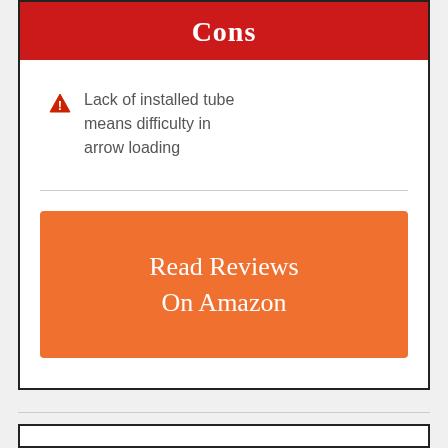Cons
Lack of installed tube means difficulty in arrow loading
[Figure (other): Orange 'Read Reviews On Amazon' button]
Read Reviews On Amazon